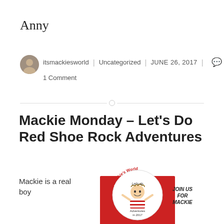Anny
itsmackiesworld | Uncategorized | JUNE 26, 2017 | 1 Comment
Mackie Monday – Let's Do Red Shoe Rock Adventures
Mackie is a real boy
[Figure (illustration): It's Mackie's World logo with a cartoon boy in a red and white striped shirt, text reading 'Let's do Adventures in 2017', with 'JOIN US FOR MACKIE' text on the right side]
JOIN US FOR MACKIE